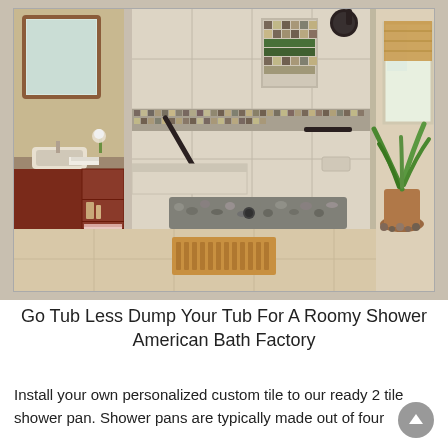[Figure (photo): A walk-in shower with tile walls, decorative mosaic border, grab bars, built-in bench, pebble floor, dark shower head, and glass panel. To the left is a vanity with mirror and sink. To the right is a potted plant near a window with a roman shade. A wooden bath mat is on the floor in front of the shower.]
Go Tub Less Dump Your Tub For A Roomy Shower American Bath Factory
Install your own personalized custom tile to our ready 2 tile shower pan. Shower pans are typically made out of four